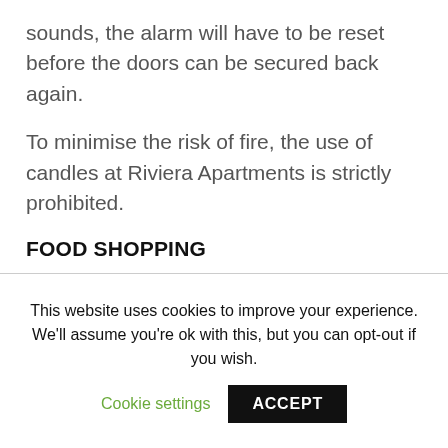sounds, the alarm will have to be reset before the doors can be secured back again.
To minimise the risk of fire, the use of candles at Riviera Apartments is strictly prohibited.
FOOD SHOPPING
Nearest convenience store within walking
This website uses cookies to improve your experience. We'll assume you're ok with this, but you can opt-out if you wish.
Cookie settings
ACCEPT